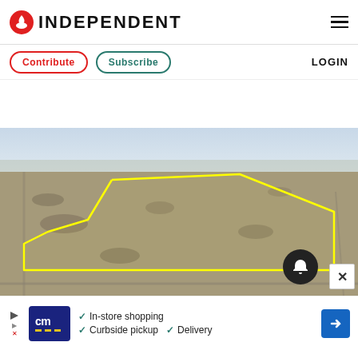INDEPENDENT
[Figure (photo): Aerial drone photograph of a large parcel of land outlined with a yellow polygon boundary line, showing open grassland/scrubland area within a suburban context]
[Figure (other): Advertisement banner: cm logo with checkmarks for In-store shopping, Curbside pickup, Delivery, with a blue navigation arrow icon]